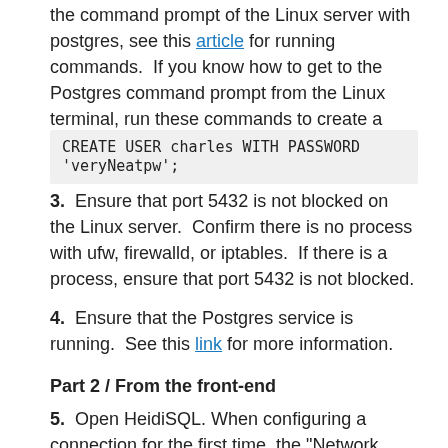the command prompt of the Linux server with postgres, see this article for running commands.  If you know how to get to the Postgres command prompt from the Linux terminal, run these commands to create a user:
CREATE USER charles WITH PASSWORD 'veryNeatpw';
3.  Ensure that port 5432 is not blocked on the Linux server.  Confirm there is no process with ufw, firewalld, or iptables.  If there is a process, ensure that port 5432 is not blocked.
4.  Ensure that the Postgres service is running.  See this link for more information.
Part 2 / From the front-end
5.  Open HeidiSQL. When configuring a connection for the first time, the "Network Type" should be PostgreSQL